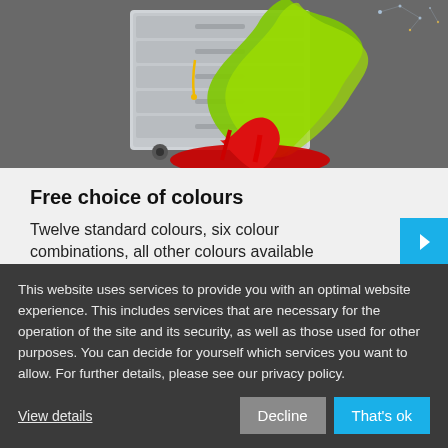[Figure (illustration): 3D illustration of a tool cabinet/trolley with green and red paint splashing and dripping off it, on a dark grey background with some light blue constellation-like dots in the upper right corner.]
Free choice of colours
Twelve standard colours, six colour combinations, all other colours available
This website uses services to provide you with an optimal website experience. This includes services that are necessary for the operation of the site and its security, as well as those used for other purposes. You can decide for yourself which services you want to allow. For further details, please see our privacy policy.
View details
Decline
That's ok